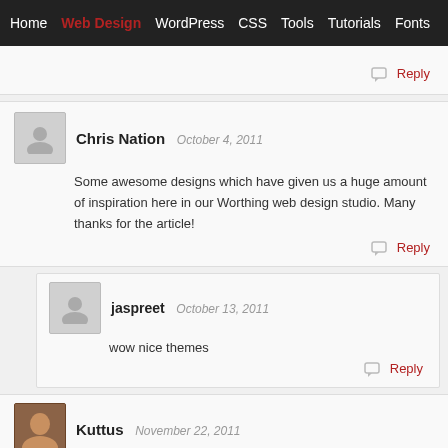Home | Web Design | WordPress | CSS | Tools | Tutorials | Fonts
(partial/cropped text from previous comment)
Reply
Chris Nation  October 4, 2011
Some awesome designs which have given us a huge amount of inspiration here in our Worthing web design studio. Many thanks for the article!
Reply
jaspreet  October 13, 2011
wow nice themes
Reply
Kuttus  November 22, 2011
Wow. Nice update.
Reply
Kuttus  November 23, 2011